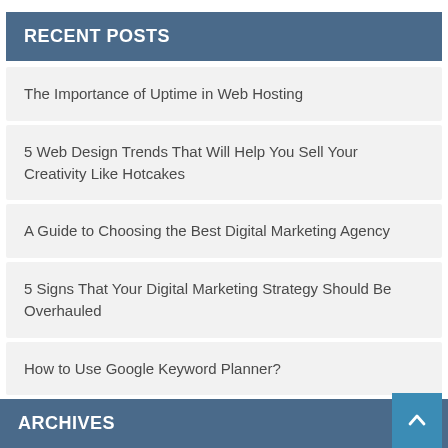RECENT POSTS
The Importance of Uptime in Web Hosting
5 Web Design Trends That Will Help You Sell Your Creativity Like Hotcakes
A Guide to Choosing the Best Digital Marketing Agency
5 Signs That Your Digital Marketing Strategy Should Be Overhauled
How to Use Google Keyword Planner?
ARCHIVES